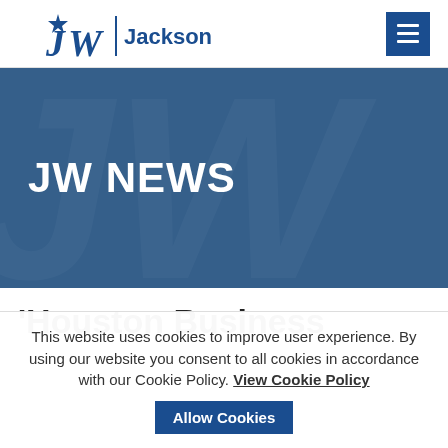JW | Jackson Walker
[Figure (illustration): JW NEWS banner with watermark JW letters on steel blue background]
'Houston Business
This website uses cookies to improve user experience. By using our website you consent to all cookies in accordance with our Cookie Policy. View Cookie Policy | Allow Cookies